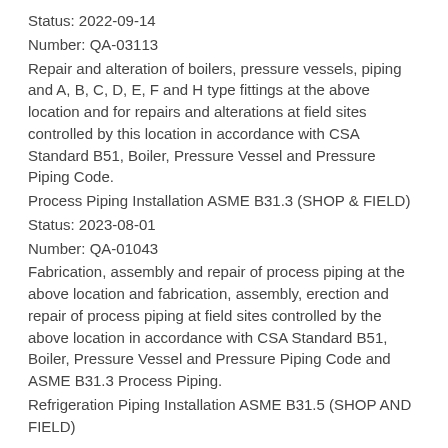Status: 2022-09-14
Number: QA-03113
Repair and alteration of boilers, pressure vessels, piping and A, B, C, D, E, F and H type fittings at the above location and for repairs and alterations at field sites controlled by this location in accordance with CSA Standard B51, Boiler, Pressure Vessel and Pressure Piping Code.
Process Piping Installation ASME B31.3 (SHOP & FIELD)
Status: 2023-08-01
Number: QA-01043
Fabrication, assembly and repair of process piping at the above location and fabrication, assembly, erection and repair of process piping at field sites controlled by the above location in accordance with CSA Standard B51, Boiler, Pressure Vessel and Pressure Piping Code and ASME B31.3 Process Piping.
Refrigeration Piping Installation ASME B31.5 (SHOP AND FIELD)